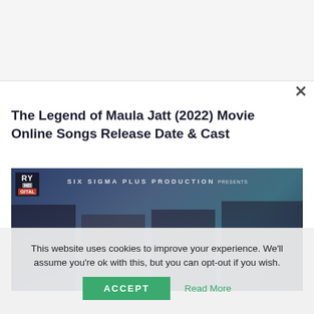[Figure (other): Advertisement banner placeholder (gray background)]
The Legend of Maula Jatt (2022) Movie Online Songs Release Date & Cast
[Figure (photo): Movie promotional banner for a Pakistani drama/film. Shows four actors (two men and two women) against a dark teal/blue background. Text reads: RY HD, GITAL (ARY Digital channel badge), SIX SIGMA PLUS PRODUCTION PRESENTS]
This website uses cookies to improve your experience. We'll assume you're ok with this, but you can opt-out if you wish.
ACCEPT
Read More